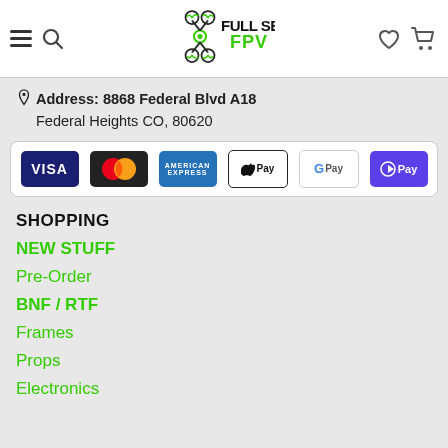Full Send FPV – navigation header with hamburger menu, search, logo, wishlist, and cart icons
Address: 8868 Federal Blvd A18
Federal Heights CO, 80620
[Figure (infographic): Payment method icons: VISA, Mastercard, American Express, Apple Pay, Google Pay, OPay]
SHOPPING
NEW STUFF
Pre-Order
BNF / RTF
Frames
Props
Electronics